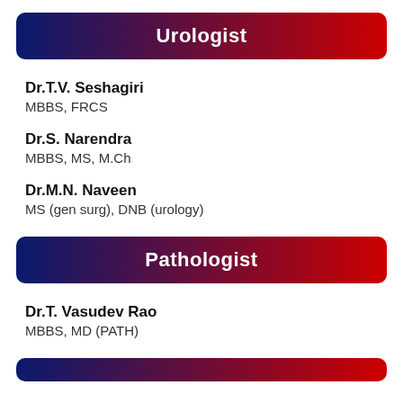Urologist
Dr.T.V. Seshagiri
MBBS, FRCS
Dr.S. Narendra
MBBS, MS, M.Ch
Dr.M.N. Naveen
MS (gen surg), DNB (urology)
Pathologist
Dr.T. Vasudev Rao
MBBS, MD (PATH)